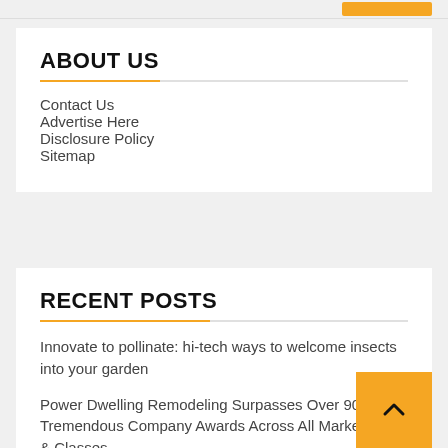ABOUT US
Contact Us
Advertise Here
Disclosure Policy
Sitemap
RECENT POSTS
Innovate to pollinate: hi-tech ways to welcome insects into your garden
Power Dwelling Remodeling Surpasses Over 900 Ang. Tremendous Company Awards Across All Marketplaces & Classes